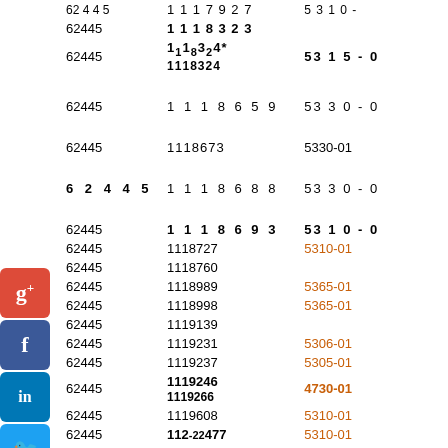| Col1 | Col2 | Col3 |
| --- | --- | --- |
| 62445 | 1117927 | 531 0- |
| 62445 | 1118323 |  |
| 62445 | 1118324 * | 53 1 5 - 0 |
| 62445 | 1118659 | 53 3 0 - 0 |
| 62445 | 1118673 | 5330-01 |
| 62445 | 1118688 | 53 3 0 - 0 |
| 62445 | 1118693 | 53 1 0 - 0 |
| 62445 | 1118727 | 5310-01 |
| 62445 | 1118760 |  |
| 62445 | 1118989 | 5365-01 |
| 62445 | 1118998 | 5365-01 |
| 62445 | 1119139 |  |
| 62445 | 1119231 | 5306-01 |
| 62445 | 1119237 | 5305-01 |
| 62445 | 1119246 / 1119266 | 4730-01 |
| 62445 | 1119608 | 5310-01 |
| 62445 | 112-22477 | 5310-01 |
| 19738 | 112-50406 |  |
| 71956 | 112176 | 3026-0 |